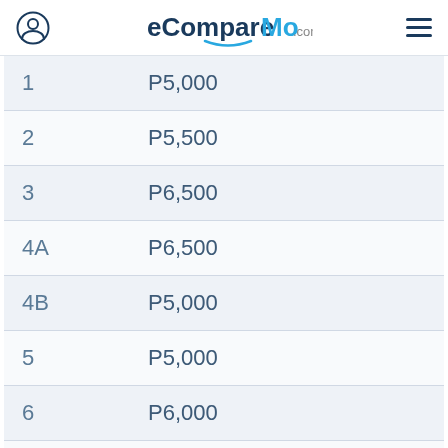eCompareMo.com
| # | Amount |
| --- | --- |
| 1 | P5,000 |
| 2 | P5,500 |
| 3 | P6,500 |
| 4A | P6,500 |
| 4B | P5,000 |
| 5 | P5,000 |
| 6 | P6,000 |
| 7 | P6,000 |